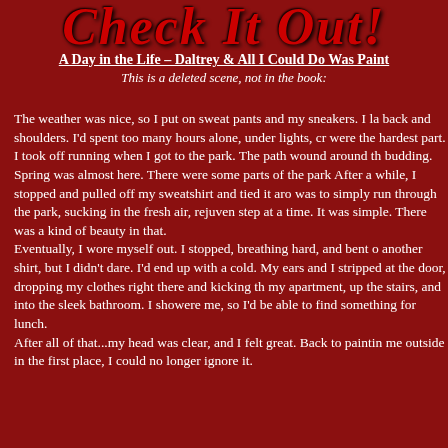[Figure (logo): Stylized cursive red logo text 'Check It Out!' with drop shadow]
A Day in the Life – Daltrey & All I Could Do Was Paint
This is a deleted scene, not in the book:
The weather was nice, so I put on sweat pants and my sneakers. I la back and shoulders. I'd spent too many hours alone, under lights, cr were the hardest part.
I took off running when I got to the park. The path wound around th budding. Spring was almost here. There were some parts of the park After a while, I stopped and pulled off my sweatshirt and tied it aro was to simply run through the park, sucking in the fresh air, rejuven step at a time. It was simple. There was a kind of beauty in that.
Eventually, I wore myself out. I stopped, breathing hard, and bent o another shirt, but I didn't dare. I'd end up with a cold. My ears and I stripped at the door, dropping my clothes right there and kicking th my apartment, up the stairs, and into the sleek bathroom. I showere me, so I'd be able to find something for lunch.
After all of that...my head was clear, and I felt great. Back to paintin me outside in the first place, I could no longer ignore it.